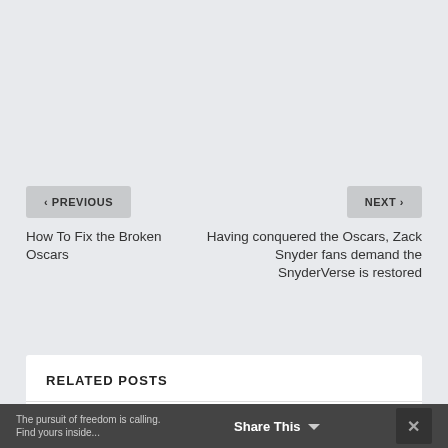< PREVIOUS
NEXT >
How To Fix the Broken Oscars
Having conquered the Oscars, Zack Snyder fans demand the SnyderVerse is restored
RELATED POSTS
[Figure (photo): Related post thumbnail image - dark background with WIRED FOR ADVENTURE text visible]
The pursuit of freedom is calling. Find yours inside...
Share This
×